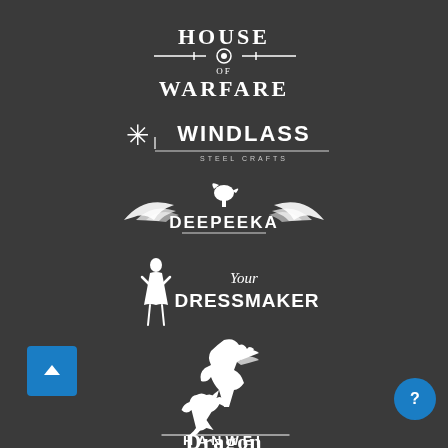[Figure (logo): House of Warfare logo - text with decorative elements on dark background]
[Figure (logo): Windlass Steel Crafts logo - star/asterisk icon with company name]
[Figure (logo): Deepeeka logo - eagle wings with text]
[Figure (logo): Your Dressmaker logo - silhouette of woman with text]
[Figure (logo): Griffin/heraldic creature logo (unnamed brand)]
[Figure (logo): Hanwei logo - dragon creature with company name]
[Figure (logo): Dragon Forge logo - gothic text, partially visible]